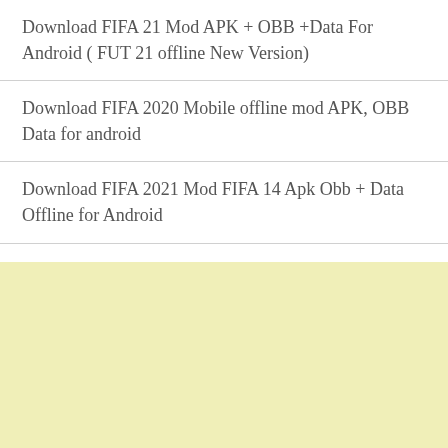Download FIFA 21 Mod APK + OBB +Data For Android ( FUT 21 offline New Version)
Download FIFA 2020 Mobile offline mod APK, OBB Data for android
Download FIFA 2021 Mod FIFA 14 Apk Obb + Data Offline for Android
How To Get Free Data On MTN Without Recharging ( Enjoy Free 30GB )